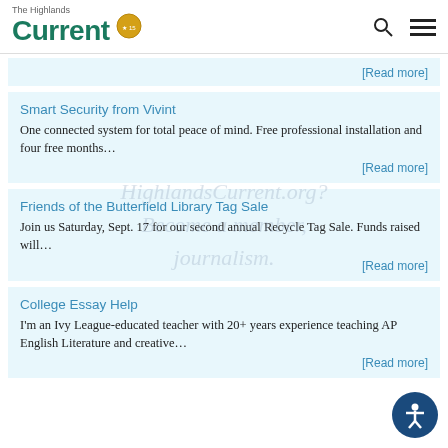The Highlands Current
[Read more]
Smart Security from Vivint
One connected system for total peace of mind. Free professional installation and four free months…
[Read more]
Friends of the Butterfield Library Tag Sale
Join us Saturday, Sept. 17 for our second annual Recycle Tag Sale. Funds raised will…
[Read more]
College Essay Help
I'm an Ivy League-educated teacher with 20+ years experience teaching AP English Literature and creative…
[Read more]